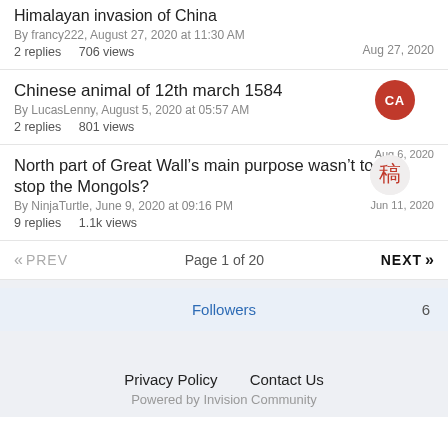Himalayan invasion of China
By francy222, August 27, 2020 at 11:30 AM
2 replies   706 views
Aug 27, 2020
Chinese animal of 12th march 1584
By LucasLenny, August 5, 2020 at 05:57 AM
2 replies   801 views
Aug 6, 2020
North part of Great Wall's main purpose wasn't to stop the Mongols?
By NinjaTurtle, June 9, 2020 at 09:16 PM
9 replies   1.1k views
Jun 11, 2020
« PREV   Page 1 of 20   NEXT »
Followers   6
Privacy Policy   Contact Us
Powered by Invision Community